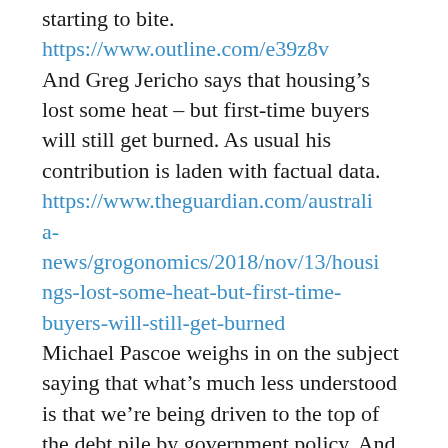starting to bite.
https://www.outline.com/e39z8v
And Greg Jericho says that housing’s lost some heat – but first-time buyers will still get burned. As usual his contribution is laden with factual data.
https://www.theguardian.com/australia-news/grogonomics/2018/nov/13/housings-lost-some-heat-but-first-time-buyers-will-still-get-burned
Michael Pascoe weighs in on the subject saying that what’s much less understood is that we’re being driven to the top of the debt pile by government policy. And, in the process, it is effectively government policy to make our housing among the world’s most